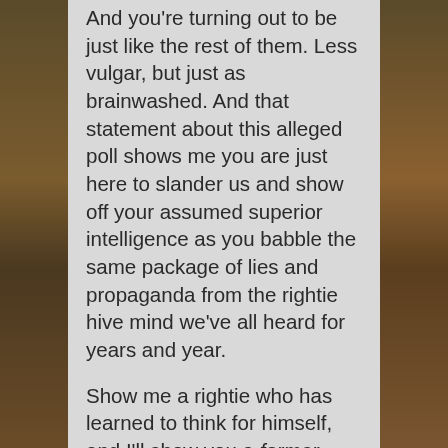And you're turning out to be just like the rest of them. Less vulgar, but just as brainwashed. And that statement about this alleged poll shows me you are just here to slander us and show off your assumed superior intelligence as you babble the same package of lies and propaganda from the rightie hive mind we've all heard for years and year.

Show me a rightie who has learned to think for himself, and I'll show you a former rightie.

Whatever you want to say, we've all heard it before. Many, many